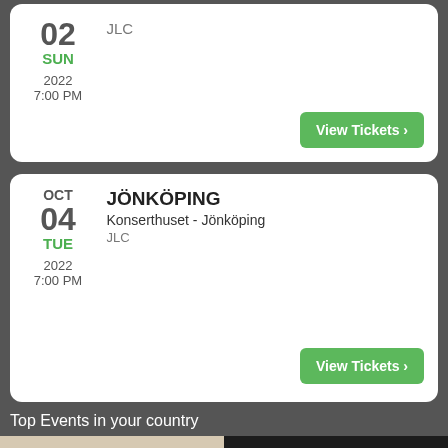02 SUN 2022 7:00 PM — JLC — View Tickets
OCT 04 TUE 2022 7:00 PM — JÖNKÖPING — Konserthuset - Jönköping — JLC — View Tickets
Top Events in your country
[Figure (other): JLC event card - Currently viewing]
[Figure (photo): Håkan Hellström promotional image with dark background]